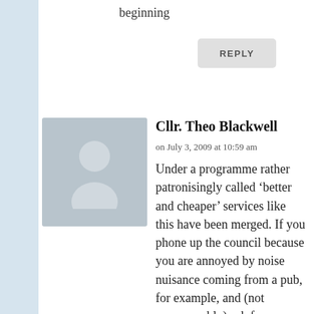beginning
REPLY
Cllr. Theo Blackwell
on July 3, 2009 at 10:59 am
Under a programme rather patronisingly called ‘better and cheaper’ services like this have been merged. If you phone up the council because you are annoyed by noise nuisance coming from a pub, for example, and (not unreasonably) ask for